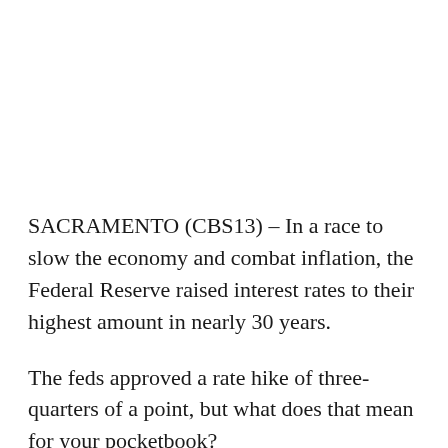SACRAMENTO (CBS13) – In a race to slow the economy and combat inflation, the Federal Reserve raised interest rates to their highest amount in nearly 30 years.
The feds approved a rate hike of three-quarters of a point, but what does that mean for your pocketbook?
The short answer: you're going to pay more if you